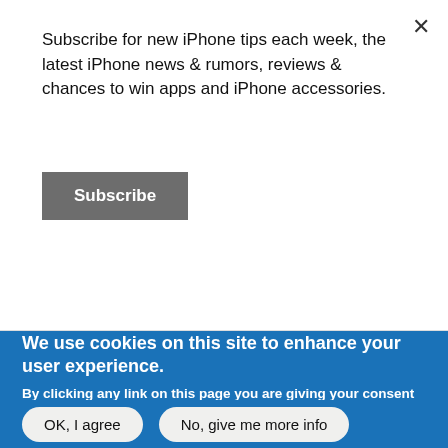Subscribe for new iPhone tips each week, the latest iPhone news & rumors, reviews & chances to win apps and iPhone accessories.
Subscribe
better security, more storage
Submitted by Frank Macey on March 28, 2017 -
We use cookies on this site to enhance your user experience.
By clicking any link on this page you are giving your consent for us to set cookies.
OK, I agree
No, give me more info